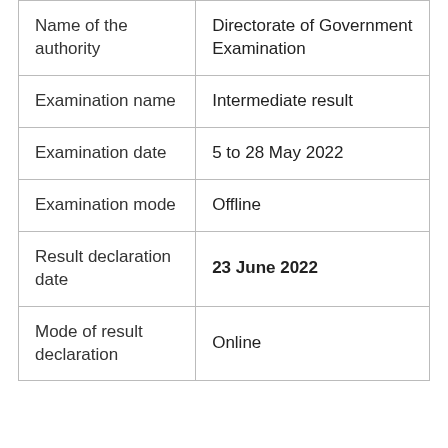| Name of the authority | Directorate of Government Examination |
| Examination name | Intermediate result |
| Examination date | 5 to 28 May 2022 |
| Examination mode | Offline |
| Result declaration date | 23 June 2022 |
| Mode of result declaration | Online |